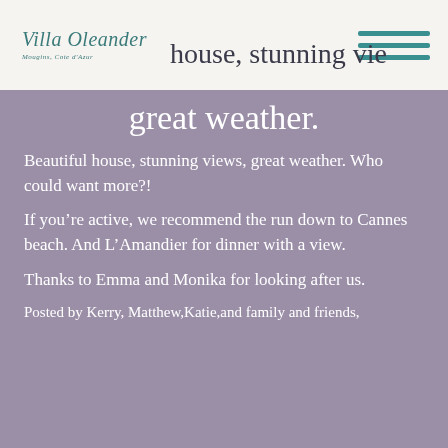Villa Oleander — Beautiful house, stunning views, great weather.
great weather.
Beautiful house, stunning views, great weather. Who could want more?!
If you're active, we recommend the run down to Cannes beach. And L'Amandier for dinner with a view.
Thanks to Emma and Monika for looking after us.
Posted by Kerry, Matthew,Katie,and family and friends,